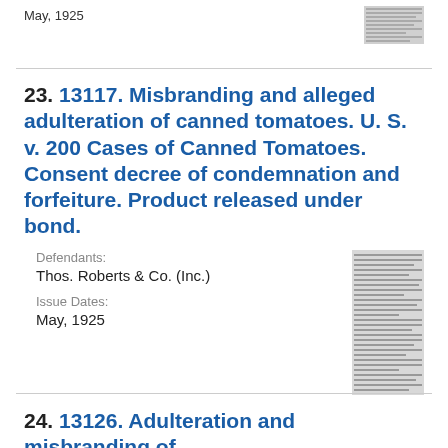May, 1925
[Figure (other): Thumbnail image of document page (top right)]
23. 13117. Misbranding and alleged adulteration of canned tomatoes. U. S. v. 200 Cases of Canned Tomatoes. Consent decree of condemnation and forfeiture. Product released under bond.
Defendants:
Thos. Roberts & Co. (Inc.)
Issue Dates:
May, 1925
[Figure (other): Thumbnail image of document page (right side of entry 23)]
24. 13126. Adulteration and misbranding of